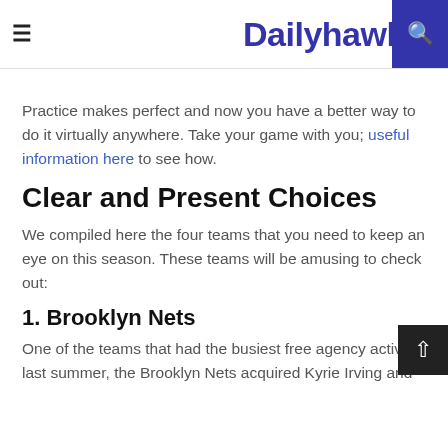Dailyhawker
Practice makes perfect and now you have a better way to do it virtually anywhere. Take your game with you; useful information here to see how.
Clear and Present Choices
We compiled here the four teams that you need to keep an eye on this season. These teams will be amusing to check out:
1. Brooklyn Nets
One of the teams that had the busiest free agency activity last summer, the Brooklyn Nets acquired Kyrie Irving and